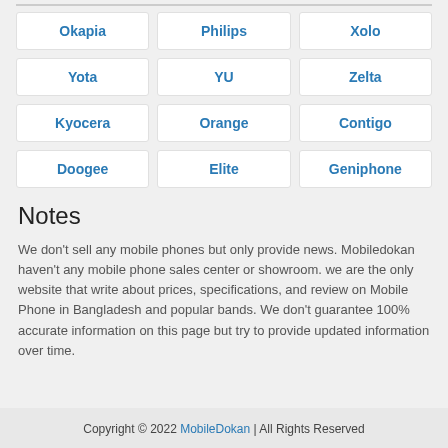Okapia
Philips
Xolo
Yota
YU
Zelta
Kyocera
Orange
Contigo
Doogee
Elite
Geniphone
Notes
We don't sell any mobile phones but only provide news. Mobiledokan haven't any mobile phone sales center or showroom. we are the only website that write about prices, specifications, and review on Mobile Phone in Bangladesh and popular bands. We don't guarantee 100% accurate information on this page but try to provide updated information over time.
Copyright © 2022 MobileDokan | All Rights Reserved